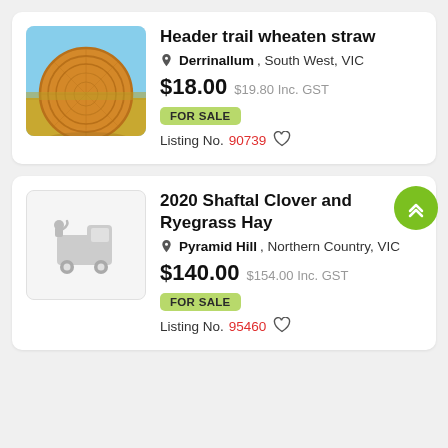Header trail wheaten straw
Derrinallum, South West, VIC
$18.00  $19.80 Inc. GST
FOR SALE
Listing No. 90739
2020 Shaftal Clover and Ryegrass Hay
Pyramid Hill, Northern Country, VIC
$140.00  $154.00 Inc. GST
FOR SALE
Listing No. 95460